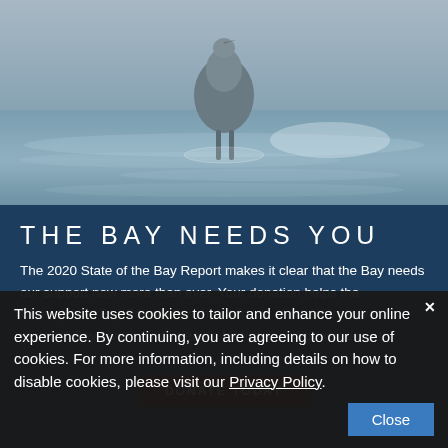[Figure (photo): Photograph of a water bird (likely a heron or similar wading bird) standing in shallow water with rippled water surface reflecting light]
THE BAY NEEDS YOU
The 2020 State of the Bay Report makes it clear that the Bay needs our support now more than ever. Your donation helps the Chesapeake Bay Foundation maintain our momentum toward a restored Bay, rivers, and streams for today and generations to
This website uses cookies to tailor and enhance your online experience. By continuing, you are agreeing to our use of cookies. For more information, including details on how to disable cookies, please visit our Privacy Policy.
Close